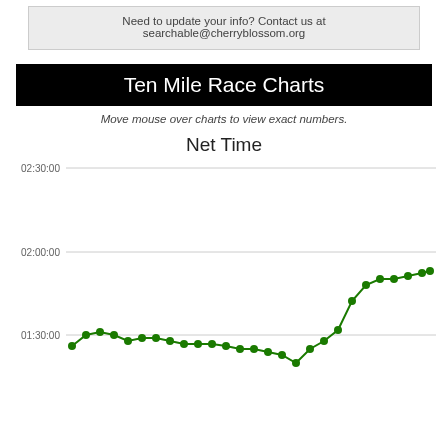Need to update your info? Contact us at searchable@cherryblossom.org
Ten Mile Race Charts
Move mouse over charts to view exact numbers.
Net Time
[Figure (line-chart): Net Time]